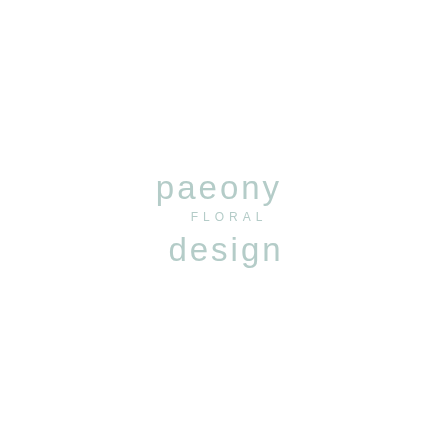[Figure (logo): Paeony Floral Design logo — three lines of light teal/mint colored text on white background: 'paeony' in large thin lowercase letters, 'floral' in small spaced uppercase letters, 'design' in large thin lowercase letters]